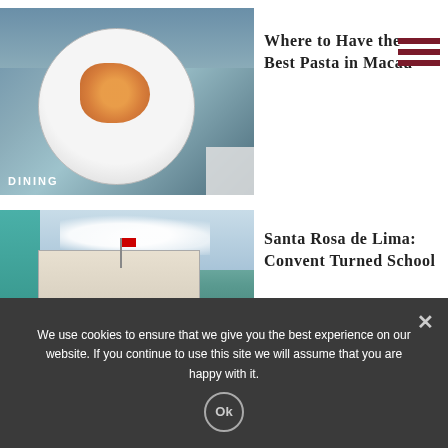[Figure (photo): Overhead shot of a white plate with orange pasta on a dark blue-gray background, labeled DINING]
Where to Have the Best Pasta in Macau
[Figure (photo): Exterior of a colonial-style building (Santa Rosa de Lima school/convent) with teal wall on left, steps leading up, trees, and cloudy sky, labeled CULTURE]
Santa Rosa de Lima: Convent Turned School
We use cookies to ensure that we give you the best experience on our website. If you continue to use this site we will assume that you are happy with it.